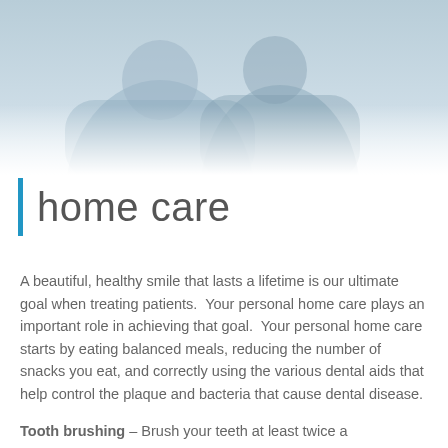[Figure (photo): Two smiling people (appears to be a couple or family members) photographed from above/diagonal angle, shown with a light blue-grey tinted overlay]
home care
A beautiful, healthy smile that lasts a lifetime is our ultimate goal when treating patients. Your personal home care plays an important role in achieving that goal. Your personal home care starts by eating balanced meals, reducing the number of snacks you eat, and correctly using the various dental aids that help control the plaque and bacteria that cause dental disease.
Tooth brushing – Brush your teeth at least twice a